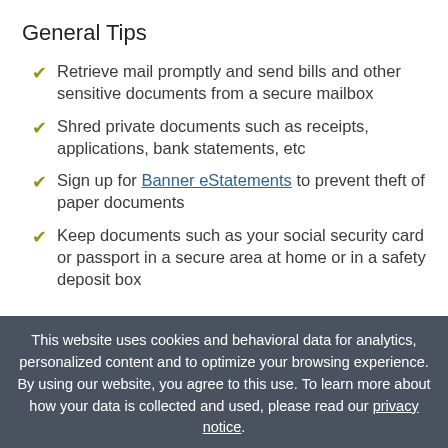General Tips
Retrieve mail promptly and send bills and other sensitive documents from a secure mailbox
Shred private documents such as receipts, applications, bank statements, etc
Sign up for Banner eStatements to prevent theft of paper documents
Keep documents such as your social security card or passport in a secure area at home or in a safety deposit box
This website uses cookies and behavioral data for analytics, personalized content and to optimize your browsing experience. By using our website, you agree to this use. To learn more about how your data is collected and used, please read our privacy notice.
Confirm